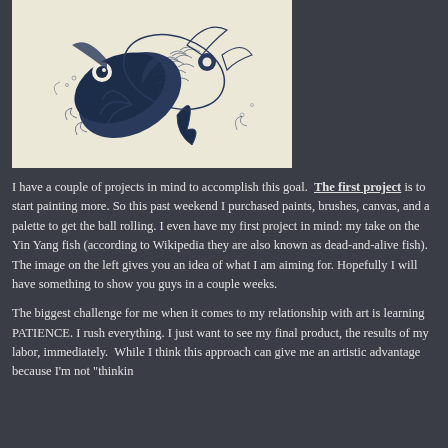[Figure (illustration): Ink illustration of Yin Yang fish (dead-and-alive fish) — two koi fish in a circular yin-yang composition, rendered in blue-black ink on a cream/off-white background with detailed scales, fins, and water splashes.]
I have a couple of projects in mind to accomplish this goal.  The first project is to start painting more. So this past weekend I purchased paints, brushes, canvas, and a palette to get the ball rolling. I even have my first project in mind: my take on the Yin Yang fish (according to Wikipedia they are also known as dead-and-alive fish).  The image on the left gives you an idea of what I am aiming for. Hopefully I will have something to show you guys in a couple weeks.
The biggest challenge for me when it comes to my relationship with art is learning PATIENCE. I rush everything. I just want to see my final product, the results of my labor, immediately.  While I think this approach can give me an artistic advantage because I'm not "thinkin...